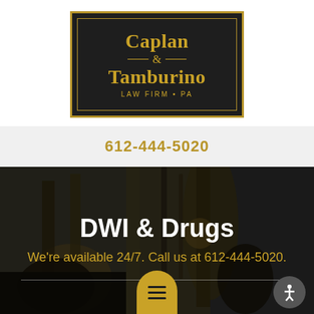[Figure (logo): Caplan & Tamburino Law Firm PA logo — dark background with gold border and gold serif text]
612-444-5020
DWI & Drugs
We're available 24/7. Call us at 612-444-5020.